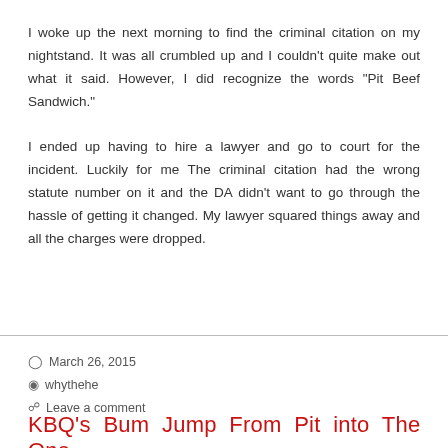I woke up the next morning to find the criminal citation on my nightstand. It was all crumbled up and I couldn't quite make out what it said. However, I did recognize the words "Pit Beef Sandwich."
I ended up having to hire a lawyer and go to court for the incident. Luckily for me The criminal citation had the wrong statute number on it and the DA didn't want to go through the hassle of getting it changed. My lawyer squared things away and all the charges were dropped.
March 26, 2015 | whythehe | Leave a comment
KBQ's Bum Jump From Pit into The One...